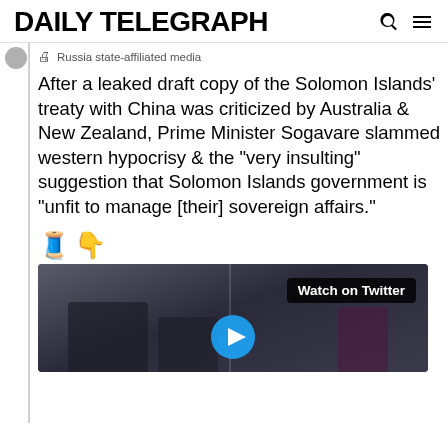DAILY TELEGRAPH
Russia state-affiliated media
After a leaked draft copy of the Solomon Islands’ treaty with China was criticized by Australia & New Zealand, Prime Minister Sogavare slammed western hypocrisy & the “very insulting” suggestion that Solomon Islands government is “unfit to manage [their] sovereign affairs.”
[Figure (other): Emoji row: thread spool and mushroom/dowsing rod emojis]
[Figure (screenshot): Video thumbnail with Watch on Twitter overlay and play button, showing a speaker at a podium]